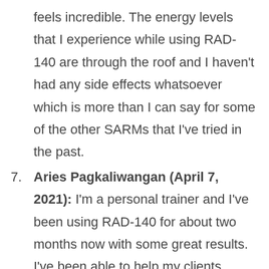feels incredible. The energy levels that I experience while using RAD-140 are through the roof and I haven't had any side effects whatsoever which is more than I can say for some of the other SARMs that I've tried in the past.
7. Aries Pagkaliwangan (April 7, 2021): I'm a personal trainer and I've been using RAD-140 for about two months now with some great results. I've been able to help my clients achieve better results in a shorter time period than ever before. The increased energy levels that this compound provides is really beneficial during training sessions as it allows us to push